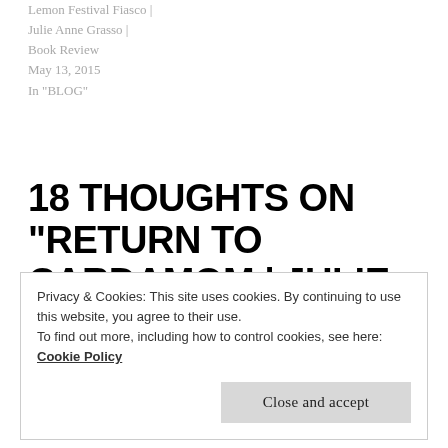Lemon Festival Fiasco | Julie Anne Grasso | Book Review
May 13, 2015
In "BLOG"
18 THOUGHTS ON “RETURN TO CARDAMOM | JULIE ANNE GRASSO | BOOK REVIEW”
Privacy & Cookies: This site uses cookies. By continuing to use this website, you agree to their use.
To find out more, including how to control cookies, see here: Cookie Policy
Close and accept